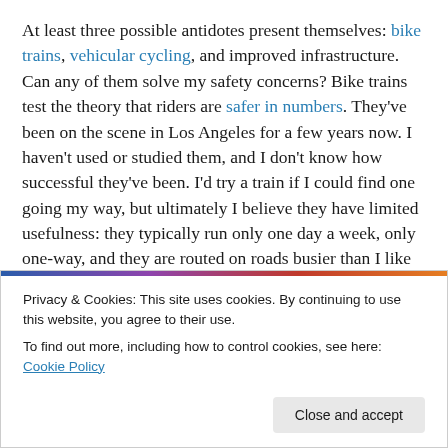At least three possible antidotes present themselves: bike trains, vehicular cycling, and improved infrastructure. Can any of them solve my safety concerns? Bike trains test the theory that riders are safer in numbers. They've been on the scene in Los Angeles for a few years now. I haven't used or studied them, and I don't know how successful they've been. I'd try a train if I could find one going my way, but ultimately I believe they have limited usefulness: they typically run only one day a week, only one-way, and they are routed on roads busier than I like to ride.
Privacy & Cookies: This site uses cookies. By continuing to use this website, you agree to their use.
To find out more, including how to control cookies, see here: Cookie Policy